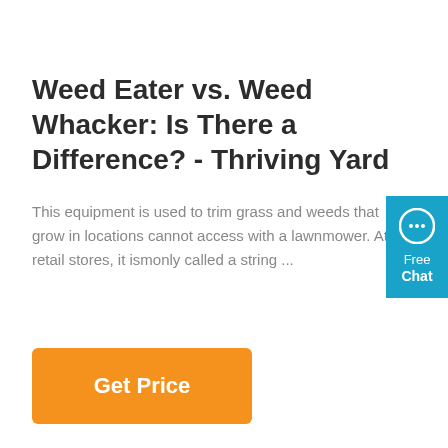Weed Eater vs. Weed Whacker: Is There a Difference? - Thriving Yard
This equipment is used to trim grass and weeds that grow in locations cannot access with a lawnmower. At retail stores, it ismonly called a string ...
[Figure (other): Blue chat widget with speech bubble icon, 'Free Chat' label]
[Figure (other): Orange 'Get Price' button]